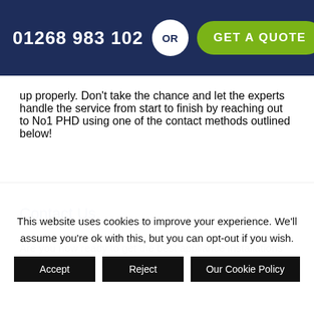01268 983 102 OR GET A QUOTE
up properly. Don't take the chance and let the experts handle the service from start to finish by reaching out to No1 PHD using one of the contact methods outlined below!
Contact Us
Are you now ready to get the best appliance installations Essex can offer? In
This website uses cookies to improve your experience. We'll assume you're ok with this, but you can opt-out if you wish.
Accept   Reject   Our Cookie Policy